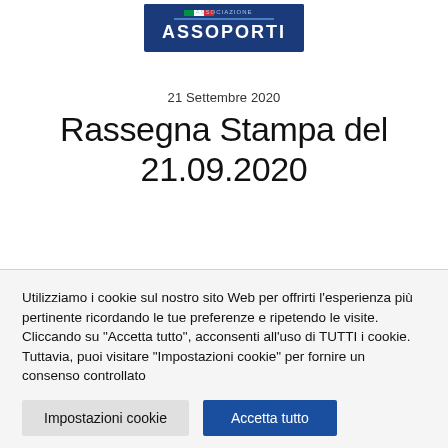[Figure (logo): Assoporti association logo — blue rectangle with 'ASSOPORTI' text in white and Italian flag colors]
21 Settembre 2020
Rassegna Stampa del 21.09.2020
Utilizziamo i cookie sul nostro sito Web per offrirti l'esperienza più pertinente ricordando le tue preferenze e ripetendo le visite. Cliccando su "Accetta tutto", acconsenti all'uso di TUTTI i cookie. Tuttavia, puoi visitare "Impostazioni cookie" per fornire un consenso controllato
Impostazioni cookie
Accetta tutto